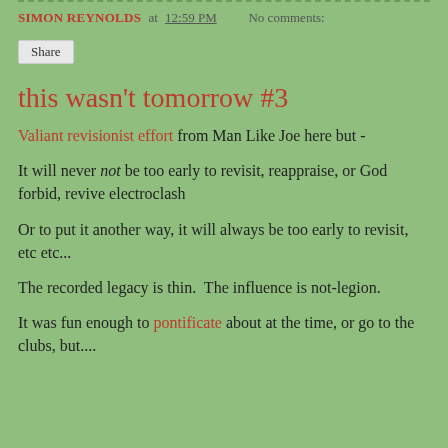SIMON REYNOLDS at 12:59 PM   No comments:
this wasn't tomorrow #3
Valiant revisionist effort from Man Like Joe here but -
It will never not be too early to revisit, reappraise, or God forbid, revive electroclash
Or to put it another way, it will always be too early to revisit, etc etc...
The recorded legacy is thin.  The influence is not-legion.
It was fun enough to pontificate about at the time, or go to the clubs, but....